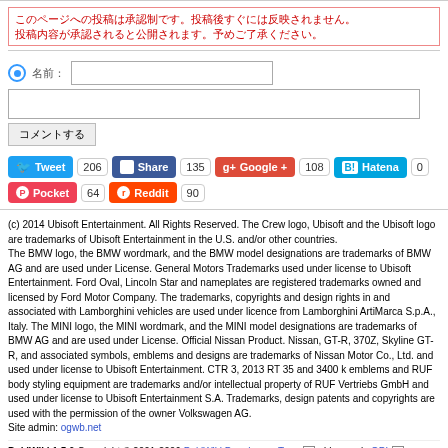Japanese characters (alert/warning text in red)
Tweet 206  Share 135  Google + 108  Hatena 0  Pocket 64  Reddit 90
(c) 2014 Ubisoft Entertainment. All Rights Reserved. The Crew logo, Ubisoft and the Ubisoft logo are trademarks of Ubisoft Entertainment in the U.S. and/or other countries. The BMW logo, the BMW wordmark, and the BMW model designations are trademarks of BMW AG and are used under License. General Motors Trademarks used under license to Ubisoft Entertainment. Ford Oval, Lincoln Star and nameplates are registered trademarks owned and licensed by Ford Motor Company. The trademarks, copyrights and design rights in and associated with Lamborghini vehicles are used under licence from Lamborghini ArtiMarca S.p.A., Italy. The MINI logo, the MINI wordmark, and the MINI model designations are trademarks of BMW AG and are used under License. Official Nissan Product. Nissan, GT-R, 370Z, Skyline GT-R, and associated symbols, emblems and designs are trademarks of Nissan Motor Co., Ltd. and used under license to Ubisoft Entertainment. CTR 3, 2013 RT 35 and 3400 k emblems and RUF body styling equipment are trademarks and/or intellectual property of RUF Vertriebs GmbH and used under license to Ubisoft Entertainment S.A. Trademarks, design patents and copyrights are used with the permission of the owner Volkswagen AG. Site admin: ogwb.net
PukiWiki 1.5.0 Copyright © 2001-2006 PukiWiki Developers Team . License is GPL . Based on "PukiWiki" 1.3 by yu-ji .. Designed by 180style. Powered by PHP . HTML convert time: 0.002 sec.